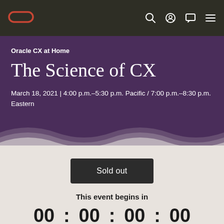[Figure (logo): Oracle logo — red rounded rectangle pill shape]
[Figure (screenshot): Navigation icons: search, user, chat, hamburger menu]
Oracle CX at Home
The Science of CX
March 18, 2021 | 4:00 p.m.–5:30 p.m. Pacific / 7:00 p.m.–8:30 p.m. Eastern
[Figure (illustration): Wave pattern decorative separator between purple hero and light background]
Sold out
This event begins in
00 : 00 : 00 : 00 Days Hours Minutes Seconds